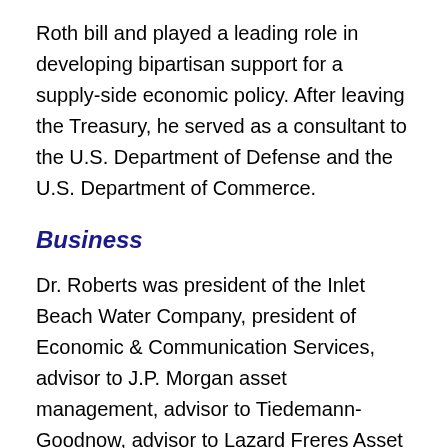Roth bill and played a leading role in developing bipartisan support for a supply-side economic policy. After leaving the Treasury, he served as a consultant to the U.S. Department of Defense and the U.S. Department of Commerce.
Business
Dr. Roberts was president of the Inlet Beach Water Company, president of Economic & Communication Services, advisor to J.P. Morgan asset management, advisor to Tiedemann-Goodnow, advisor to Lazard Freres Asset Management, and a member of corporate and financial boards.